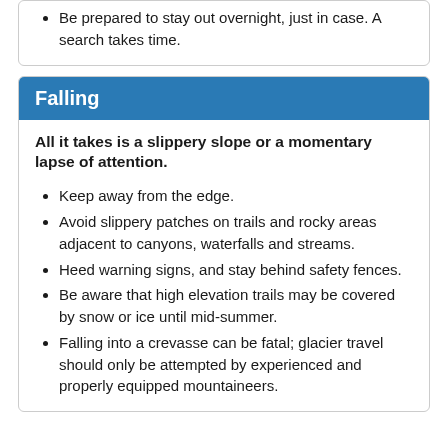Be prepared to stay out overnight, just in case. A search takes time.
Falling
All it takes is a slippery slope or a momentary lapse of attention.
Keep away from the edge.
Avoid slippery patches on trails and rocky areas adjacent to canyons, waterfalls and streams.
Heed warning signs, and stay behind safety fences.
Be aware that high elevation trails may be covered by snow or ice until mid-summer.
Falling into a crevasse can be fatal; glacier travel should only be attempted by experienced and properly equipped mountaineers.